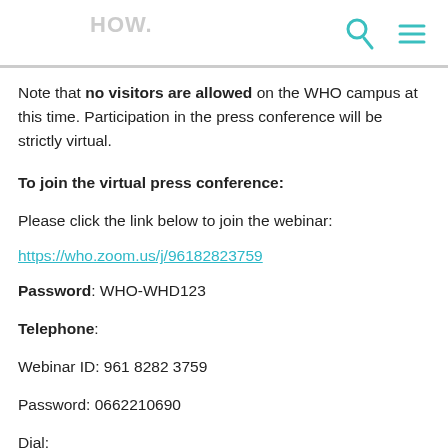HOW.
Note that no visitors are allowed on the WHO campus at this time. Participation in the press conference will be strictly virtual.
To join the virtual press conference:
Please click the link below to join the webinar:
https://who.zoom.us/j/96182823759
Password: WHO-WHD123
Telephone:
Webinar ID: 961 8282 3759
Password: 0662210690
Dial: